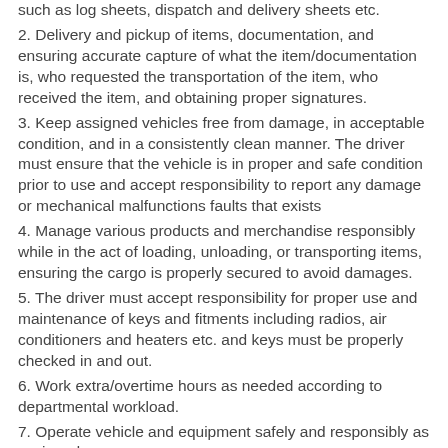such as log sheets, dispatch and delivery sheets etc.
2. Delivery and pickup of items, documentation, and ensuring accurate capture of what the item/documentation is, who requested the transportation of the item, who received the item, and obtaining proper signatures.
3. Keep assigned vehicles free from damage, in acceptable condition, and in a consistently clean manner. The driver must ensure that the vehicle is in proper and safe condition prior to use and accept responsibility to report any damage or mechanical malfunctions faults that exists
4. Manage various products and merchandise responsibly while in the act of loading, unloading, or transporting items, ensuring the cargo is properly secured to avoid damages.
5. The driver must accept responsibility for proper use and maintenance of keys and fitments including radios, air conditioners and heaters etc. and keys must be properly checked in and out.
6. Work extra/overtime hours as needed according to departmental workload.
7. Operate vehicle and equipment safely and responsibly as assigned.
8. Respect and maintain the relationship of trust required to obtain a high level of security access to offices, home and property of the